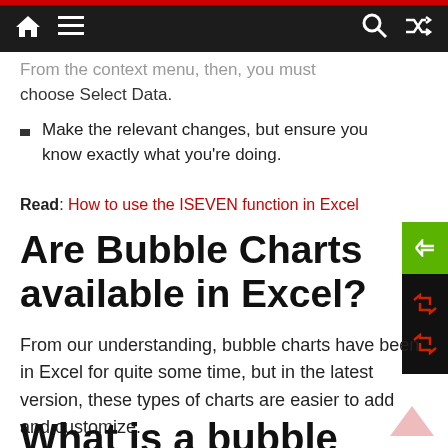Navigation bar with home, menu, search, and shuffle icons
From the context menu, then, you must choose Select Data.
Make the relevant changes, but ensure you know exactly what you're doing.
Read: How to use the ISEVEN function in Excel
Are Bubble Charts available in Excel?
From our understanding, bubble charts have been in Excel for quite some time, but in the latest version, these types of charts are easier to add and customize.
What is a bubble chart